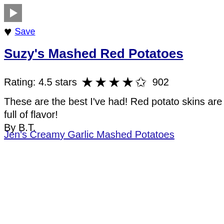[Figure (other): Gray play button square with white triangle/arrow pointing right]
♥  Save
Suzy's Mashed Red Potatoes
Rating: 4.5 stars ★ ★ ★ ★ ☆ 902
These are the best I've had! Red potato skins are full of flavor! By B.T.
Jen's Creamy Garlic Mashed Potatoes